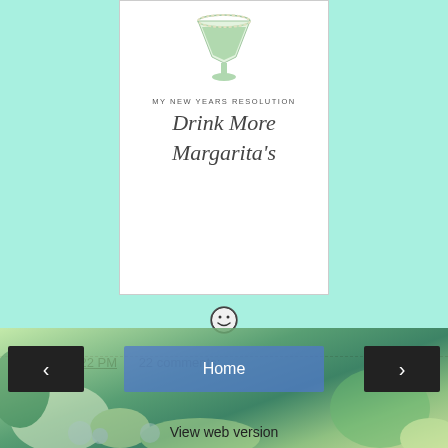[Figure (photo): Product image of a white can/mug with a margarita glass graphic and text reading 'My New Years Resolution Drink More Margarita's' in script font]
[Figure (other): Small circular emoji/icon with a smiley face]
Ruby at 8:22 PM    22 comments:
Share
[Figure (other): Bottom navigation area with floral/nature background image, previous arrow button, Home button, and next arrow button]
View web version